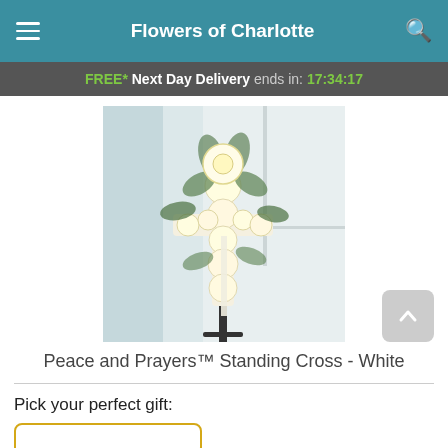Flowers of Charlotte
FREE* Next Day Delivery ends in: 17:34:17
[Figure (photo): A white floral standing cross arrangement with white roses, carnations, and green foliage on a stand, displayed in a bright room.]
Peace and Prayers™ Standing Cross - White
Pick your perfect gift: